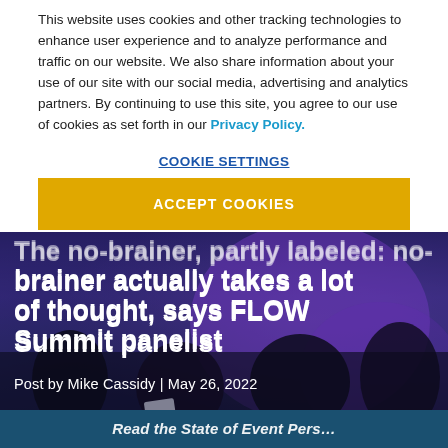This website uses cookies and other tracking technologies to enhance user experience and to analyze performance and traffic on our website. We also share information about your use of our site with our social media, advertising and analytics partners. By continuing to use this site, you agree to our use of cookies as set forth in our Privacy Policy.
COOKIE SETTINGS
ACCEPT COOKIES
[Figure (photo): Panel discussion at FLOW Summit event, showing people seated on stage with purple lighting background]
The no-brainer actually takes a lot of thought, says FLOW Summit panelist
Post by Mike Cassidy | May 26, 2022
Read the State of Event Pers...